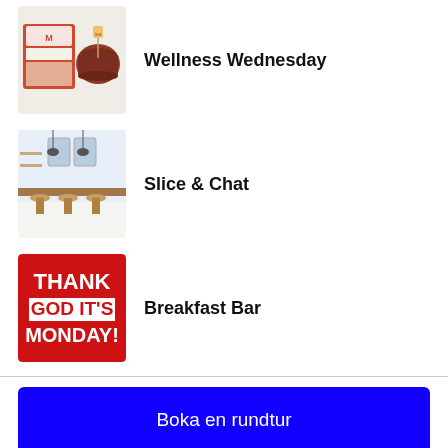Wellness Wednesday
Slice & Chat
Breakfast Bar
Boka en rundtur
Ta kontakt